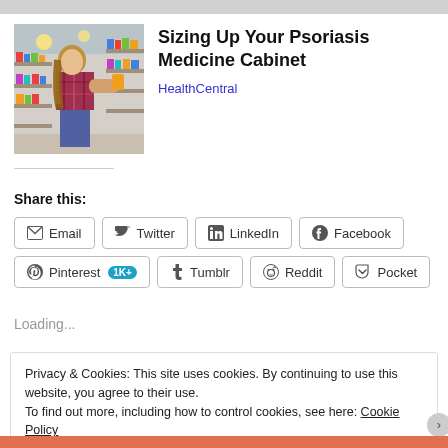[Figure (photo): Woman browsing products in a pharmacy/store aisle, wearing a plaid shirt, looking at shelf items. Store shelves visible in background with colorful product packaging.]
Sizing Up Your Psoriasis Medicine Cabinet
HealthCentral
Share this:
Email  Twitter  LinkedIn  Facebook  Pinterest 1K+  Tumblr  Reddit  Pocket
Loading...
Privacy & Cookies: This site uses cookies. By continuing to use this website, you agree to their use.
To find out more, including how to control cookies, see here: Cookie Policy